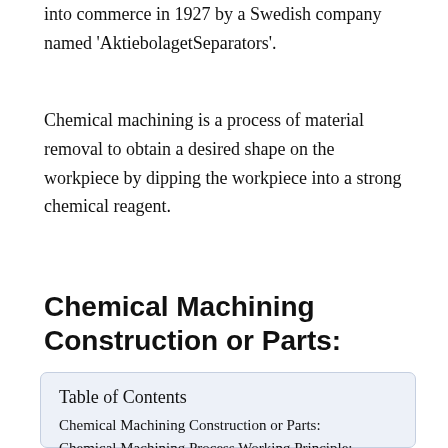This technique was further developed and brought into commerce in 1927 by a Swedish company named 'AktiebolagetSeparators'.
Chemical machining is a process of material removal to obtain a desired shape on the workpiece by dipping the workpiece into a strong chemical reagent.
Chemical Machining Construction or Parts:
Table of Contents
Chemical Machining Construction or Parts:
Chemical Machining Process Working Principle:
Chemical Machining involves four major processes